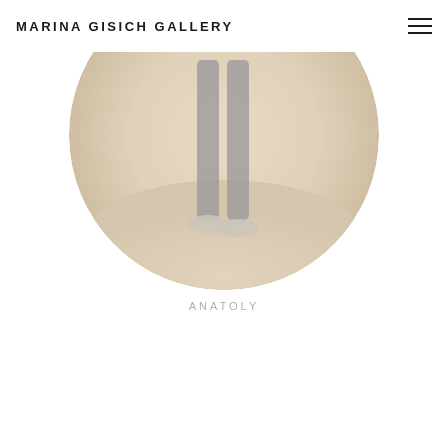MARINA GISICH GALLERY
[Figure (photo): A circular cropped photograph showing a person's legs and feet standing on a light beige/cream floor, wearing dark pants and light shoes. The image is soft and slightly blurred with warm neutral tones.]
ANATOLY